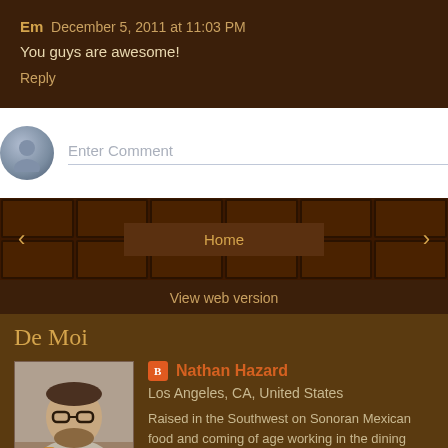Em  December 5, 2011 at 11:03 PM
You guys are awesome!
Reply
[Figure (screenshot): Comment input box with avatar placeholder and 'Enter Comment' placeholder text]
[Figure (screenshot): Navigation bar with chocolate bar texture background, left arrow, Home button, right arrow]
View web version
De Moi
[Figure (photo): Photo of Nathan Hazard, a man with glasses and beard holding a drink]
Nathan Hazard
Los Angeles, CA, United States
Raised in the Southwest on Sonoran Mexican food and coming of age working in the dining rooms of some of the